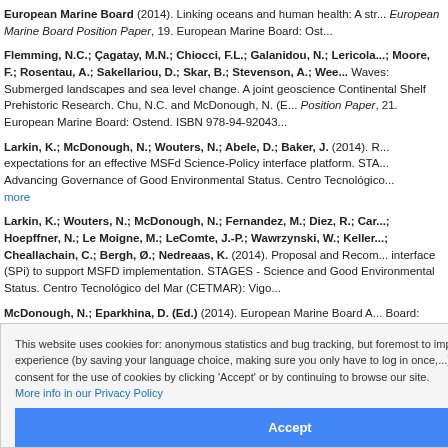European Marine Board (2014). Linking oceans and human health: A str... European Marine Board Position Paper, 19. European Marine Marine Board: Ost...
Flemming, N.C.; Çagatay, M.N.; Chiocci, F.L.; Galanidou, N.; Lericola...; Moore, F.; Rosentau, A.; Sakellariou, D.; Skar, B.; Stevenson, A.; Wee... Waves: Submerged landscapes and sea level change. A joint geoscience Continental Shelf Prehistoric Research. Chu, N.C. and McDonough, N. (E... Position Paper, 21. European Marine Board: Ostend. ISBN 978-94-92043...
Larkin, K.; McDonough, N.; Wouters, N.; Abele, D.; Baker, J. (2014). R... expectations for an effective MSFd Science-Policy interface platform. STA... Advancing Governance of Good Environmental Status. Centro Tecnológico... more
Larkin, K.; Wouters, N.; McDonough, N.; Fernandez, M.; Diez, R.; Car...; Hoepffner, N.; Le Moigne, M.; LeComte, J.-P.; Wawrzynski, W.; Keller...; Cheallachain, C.; Bergh, Ø.; Nedreaas, K. (2014). Proposal and Recom... interface (SPi) to support MSFD implementation. STAGES - Science and Good Environmental Status. Centro Tecnológico del Mar (CETMAR): Vigo...
McDonough, N.; Eparkhina, D. (Ed.) (2014). European Marine Board A... Board: Oostende. ISBN 978-90-7952-822-6. 64 pp., more
Bergseth, S.; Gelewaert, J.-B.; CSA MarineBiotech Partners (2013). C... European Marine Biotechnology Research (CSA MarineBiotech). in: Me... Challenges and opportunities for Europe. Royal Academy of Belgium for Science and the Arts...: pp. 3, more
(2013). Second SEAS-ERA Strategic Forum... : Ostend. 29 pp., more
European Marine Board (2013). Navigating the Future IV. European Ma... ISBN 978-90-820931-0-0. 202 pp., more
McDonough, N.; Eparkhina, D. (Ed.) (2013). European Marine Board A...
This website uses cookies for: anonymous statistics and bug tracking, but foremost to improve your surfing experience (by saving your language choice, making sure you only have to log in once,...). You can give your consent for the use of cookies by clicking 'Accept' or by continuing to browse our site. More info in our Privacy Policy